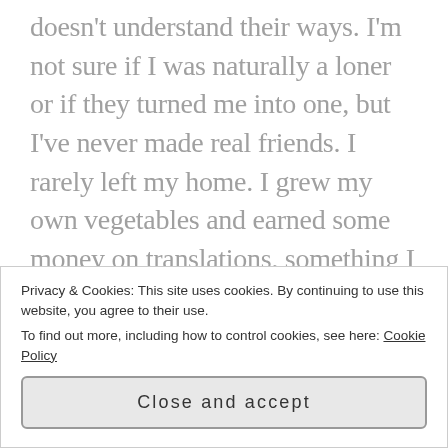doesn't understand their ways. I'm not sure if I was naturally a loner or if they turned me into one, but I've never made real friends. I rarely left my home. I grew my own vegetables and earned some money on translations, something I could do from home. I don't know why I returned here after college. My father was sick so I came to help my mother, but after that, I could've left. I didn't, and apparently now I was trapped here. There was something about this place that made me feel at home, even though I hated the people that lived here. Now, however, I had to feel sorry for them.
Privacy & Cookies: This site uses cookies. By continuing to use this website, you agree to their use.
To find out more, including how to control cookies, see here: Cookie Policy
Close and accept